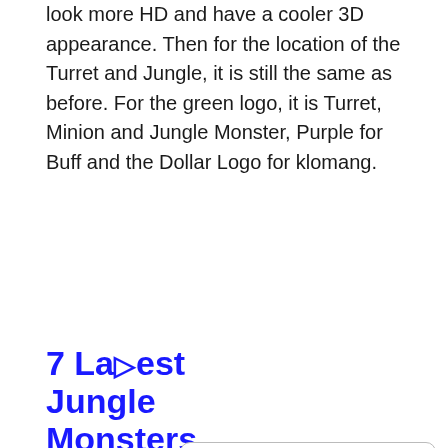look more HD and have a cooler 3D appearance. Then for the location of the Turret and Jungle, it is still the same as before. For the green logo, it is Turret, Minion and Jungle Monster, Purple for Buff and the Dollar Logo for klomang.
7 Latest Jungle Monsters in Mobi
1. Se
[Figure (screenshot): Game screenshot showing a jungle monster with purple glow effect on the left, and a game UI panel showing character stats on the right. A modal popup overlay is visible in the center showing '= [ CLOSE (X) ] To Read Article =']